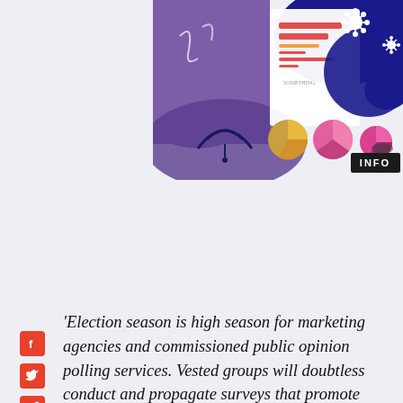[Figure (illustration): Decorative illustration with purple/blue abstract shapes, pie charts, bar chart elements, wifi symbol, and coronavirus/virus icons on a light lavender background. Shows INFO label in top right corner.]
[Figure (infographic): Three red social media sharing icons stacked vertically: Facebook (f), Twitter (bird), and Share/forward arrow icons]
'Election season is high season for marketing agencies and commissioned public opinion polling services. Vested groups will doubtless conduct and propagate surveys that promote their interests.'